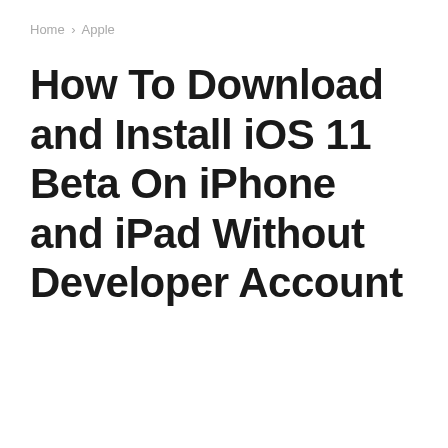Home › Apple
How To Download and Install iOS 11 Beta On iPhone and iPad Without Developer Account